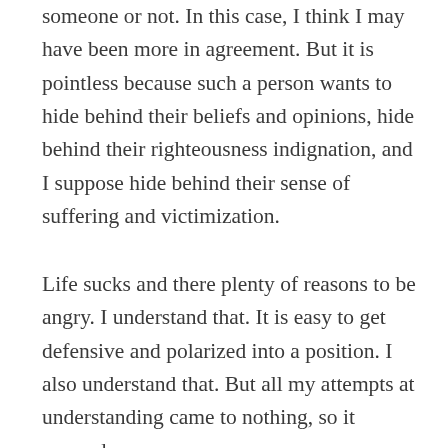someone or not. In this case, I think I may have been more in agreement. But it is pointless because such a person wants to hide behind their beliefs and opinions, hide behind their righteousness indignation, and I suppose hide behind their sense of suffering and victimization.
Life sucks and there plenty of reasons to be angry. I understand that. It is easy to get defensive and polarized into a position. I also understand that. But all my attempts at understanding came to nothing, so it seemed.